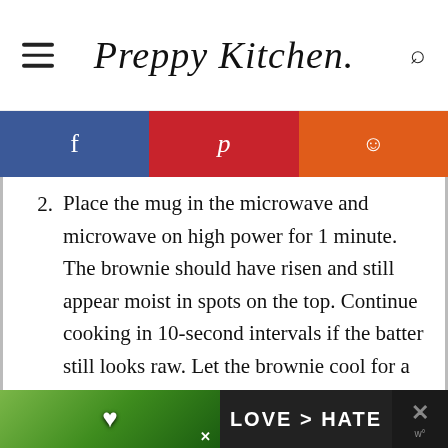Preppy Kitchen
Place the mug in the microwave and microwave on high power for 1 minute. The brownie should have risen and still appear moist in spots on the top. Continue cooking in 10-second intervals if the batter still looks raw. Let the brownie cool for a few minutes before serving with ice cream.